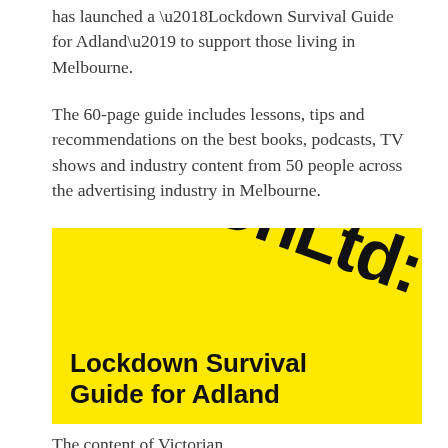has launched a ‘Lockdown Survival Guide for Adland’ to support those living in Melbourne.
The 60-page guide includes lessons, tips and recommendations on the best books, podcasts, TV shows and industry content from 50 people across the advertising industry in Melbourne.
[Figure (illustration): Yellow background image with large bold black text 'UnLtd:' rotated diagonally, and bottom-left text reading 'Lockdown Survival Guide for Adland' in bold black sans-serif.]
The content of Victorian ‘content’ from adland includes